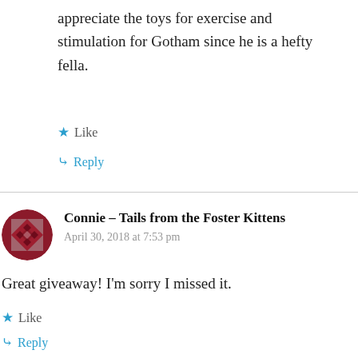appreciate the toys for exercise and stimulation for Gotham since he is a hefty fella.
Like
Reply
Connie - Tails from the Foster Kittens
April 30, 2018 at 7:53 pm
Great giveaway! I'm sorry I missed it.
Like
Reply